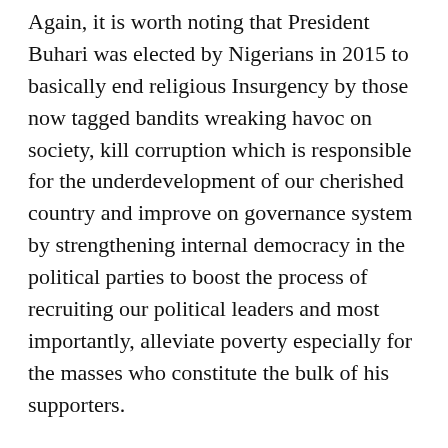Again, it is worth noting that President Buhari was elected by Nigerians in 2015 to basically end religious Insurgency by those now tagged bandits wreaking havoc on society, kill corruption which is responsible for the underdevelopment of our cherished country and improve on governance system by strengthening internal democracy in the political parties to boost the process of recruiting our political leaders and most importantly, alleviate poverty especially for the masses who constitute the bulk of his supporters.
It is highly disappointing that the aforementioned goals in the mission of Buhari have been achieved in breach.